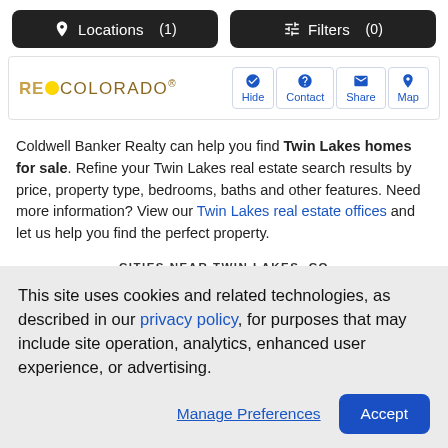Locations (1)   Filters (0)
[Figure (logo): RE/COLORADO logo with orange dot, with Hide, Contact, Share, Map action buttons]
Coldwell Banker Realty can help you find Twin Lakes homes for sale. Refine your Twin Lakes real estate search results by price, property type, bedrooms, baths and other features. Need more information? View our Twin Lakes real estate offices and let us help you find the perfect property.
CITIES NEAR TWIN LAKES, CO
Alma   Almont   Aspen   Beaver Creek   Breckenridge
This site uses cookies and related technologies, as described in our privacy policy, for purposes that may include site operation, analytics, enhanced user experience, or advertising.
Manage Preferences   Accept